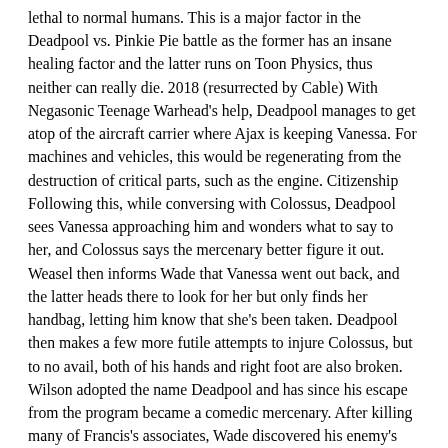lethal to normal humans. This is a major factor in the Deadpool vs. Pinkie Pie battle as the former has an insane healing factor and the latter runs on Toon Physics, thus neither can really die. 2018 (resurrected by Cable) With Negasonic Teenage Warhead's help, Deadpool manages to get atop of the aircraft carrier where Ajax is keeping Vanessa. For machines and vehicles, this would be regenerating from the destruction of critical parts, such as the engine. Citizenship Following this, while conversing with Colossus, Deadpool sees Vanessa approaching him and wonders what to say to her, and Colossus says the mercenary better figure it out. Weasel then informs Wade that Vanessa went out back, and the latter heads there to look for her but only finds her handbag, letting him know that she's been taken. Deadpool then makes a few more futile attempts to injure Colossus, but to no avail, both of his hands and right foot are also broken. Wilson adopted the name Deadpool and has since his escape from the program became a comedic mercenary. After killing many of Francis's associates, Wade discovered his enemy's whereabouts and hitched a taxicab ride to the designated location of the location. One day, Wade takes a job getting a pizza delivery boy to stop stalking a girl by threatening him. Cable gives him thirty seconds. Later, Wade gets Negasonic and Yukio to fix Cable's time-travel device and then uses it